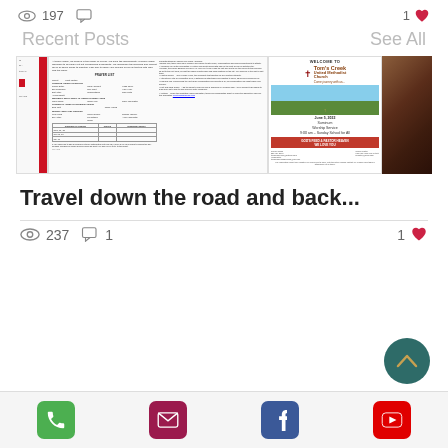197 views, 1 like
Recent Posts   See All
[Figure (screenshot): Thumbnail of a church bulletin document with prayer list and table]
[Figure (screenshot): Tom's Creek United Methodist Church bulletin for June 5, 2022, with cross logo and road image]
[Figure (photo): Interior photo of church with brown/amber tones]
Travel down the road and back...
237 views, 1 comment, 1 like
[Figure (infographic): Bottom navigation bar with phone, email, Facebook, and YouTube icons]